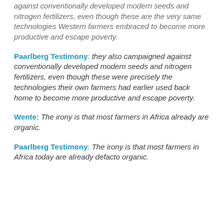against conventionally developed modern seeds and nitrogen fertilizers, even though these are the very same technologies Western farmers embraced to become more productive and escape poverty.
Paarlberg Testimony:  they also campaigned against conventionally developed modern seeds and nitrogen fertilizers, even though these were precisely the technologies their own farmers had earlier used back home to become more productive and escape poverty.
Wente:  The irony is that most farmers in Africa already are organic.
Paarlberg Testimony:  The irony is that most farmers in Africa today are already defacto organic.